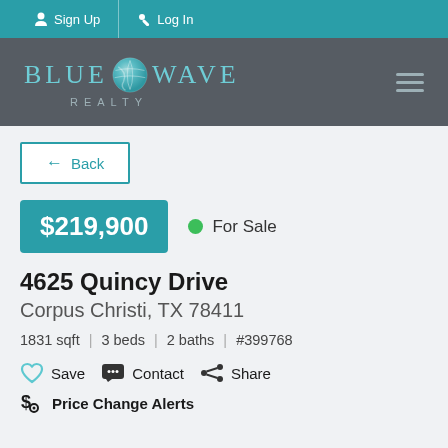Sign Up   Log In
[Figure (logo): Blue Wave Realty logo with teal globe icon on dark gray background]
← Back
$219,900  ● For Sale
4625 Quincy Drive
Corpus Christi, TX 78411
1831 sqft  |  3 beds  |  2 baths  |  #399768
♡ Save  💬 Contact  ⬤< Share
$ Price Change Alerts